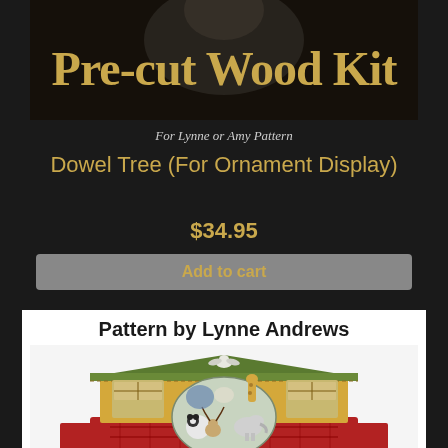[Figure (photo): Pre-cut Wood Kit banner image with golden text on dark background with a blurred figure in the background]
For Lynne or Amy Pattern
Dowel Tree (For Ornament Display)
$34.95
Add to cart
[Figure (illustration): Noah's Ark illustration with 'Pattern by Lynne Andrews' header, showing a colorful ark building with various animals including elephant, panda, deer, and birds]